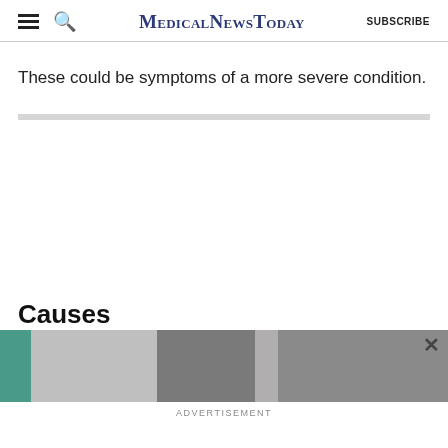MedicalNewsToday SUBSCRIBE
These could be symptoms of a more severe condition.
Causes
[Figure (photo): Advertisement image strip with teal/gray medical imagery and close button]
ADVERTISEMENT